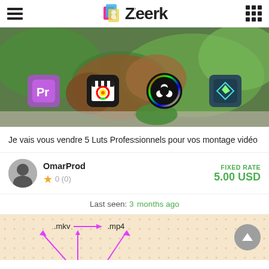Zeerk
[Figure (screenshot): Hero image showing video editing software icons (Adobe Premiere Pro, Final Cut Pro, DaVinci Resolve, FilmoraGo) over a nature background with a kiwi bird]
Je vais vous vendre 5 Luts Professionnels pour vos montage vidéo
OmarProd — 0 (0) — FIXED RATE 5.00 USD
Last seen: 3 months ago
[Figure (screenshot): Bottom card with .mkv → .mp4 conversion arrows on a beige dotted background]